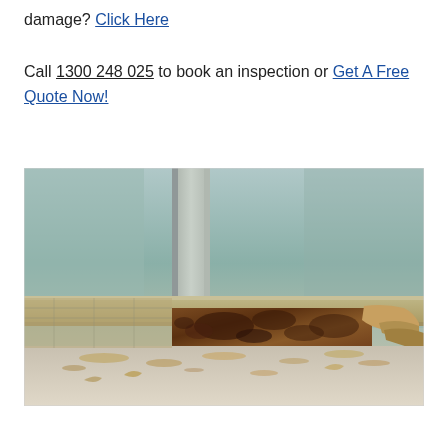damage? Click Here
Call 1300 248 025 to book an inspection or Get A Free Quote Now!
[Figure (photo): Close-up photograph of severe termite damage to a wooden door frame or window sill. The wood is heavily eaten away and crumbling, with dark brown tunnels visible in the cross-section. Wood debris and shavings are scattered on the surface below. Background shows a weathered painted wall surface.]